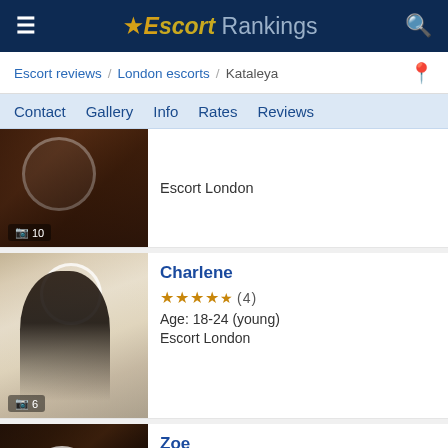Escort Rankings
Escort reviews / London escorts / Kataleya
Contact  Gallery  Info  Rates  Reviews
[Figure (photo): Partial photo of escort with camera icon and count showing 10]
Escort London
[Figure (photo): Photo of Charlene escort with camera icon showing 6]
Charlene
★★★★½ (4)
Age: 18-24 (young)
Escort London
[Figure (photo): Photo of Zoe escort, partially visible]
Zoe
★★★★★ (7)
Age: 25-36 (young)